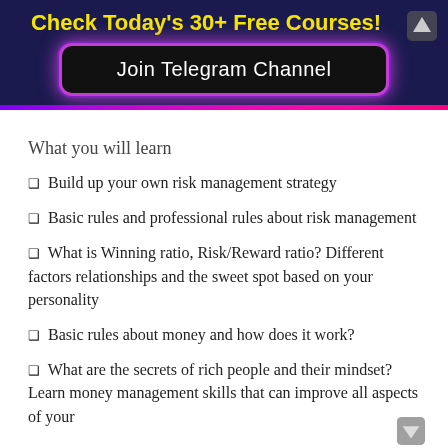Check Today's 30+ Free Courses!
[Figure (other): Join Telegram Channel button with neon purple/pink glow border on dark background]
What you will learn
Build up your own risk management strategy
Basic rules and professional rules about risk management
What is Winning ratio, Risk/Reward ratio? Different factors relationships and the sweet spot based on your personality
Basic rules about money and how does it work?
What are the secrets of rich people and their mindset? Learn money management skills that can improve all aspects of your life